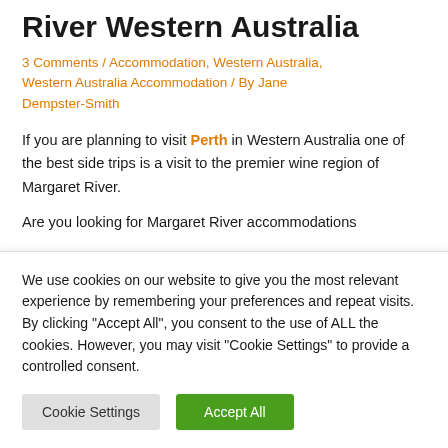Where To Stay In Margaret River Western Australia
3 Comments / Accommodation, Western Australia, Western Australia Accommodation / By Jane Dempster-Smith
If you are planning to visit Perth in Western Australia one of the best side trips is a visit to the premier wine region of Margaret River.
Are you looking for Margaret River accommodations
We use cookies on our website to give you the most relevant experience by remembering your preferences and repeat visits. By clicking "Accept All", you consent to the use of ALL the cookies. However, you may visit "Cookie Settings" to provide a controlled consent.